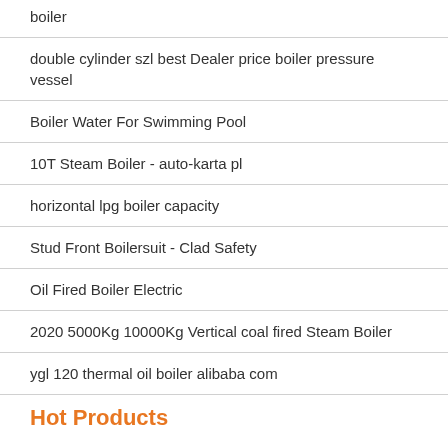boiler
double cylinder szl best Dealer price boiler pressure vessel
Boiler Water For Swimming Pool
10T Steam Boiler - auto-karta pl
horizontal lpg boiler capacity
Stud Front Boilersuit - Clad Safety
Oil Fired Boiler Electric
2020 5000Kg 10000Kg Vertical coal fired Steam Boiler
ygl 120 thermal oil boiler alibaba com
Hot Products